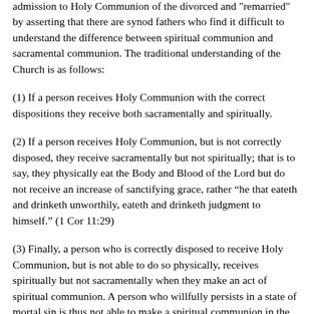admission to Holy Communion of the divorced and 'remarried' by asserting that there are synod fathers who find it difficult to understand the difference between spiritual communion and sacramental communion. The traditional understanding of the Church is as follows:
(1) If a person receives Holy Communion with the correct dispositions they receive both sacramentally and spiritually.
(2) If a person receives Holy Communion, but is not correctly disposed, they receive sacramentally but not spiritually; that is to say, they physically eat the Body and Blood of the Lord but do not receive an increase of sanctifying grace, rather “he that eateth and drinketh unworthily, eateth and drinketh judgment to himself.” (1 Cor 11:29)
(3) Finally, a person who is correctly disposed to receive Holy Communion, but is not able to do so physically, receives spiritually but not sacramentally when they make an act of spiritual communion. A person who willfully persists in a state of mortal sin is thus not able to make a spiritual communion in the